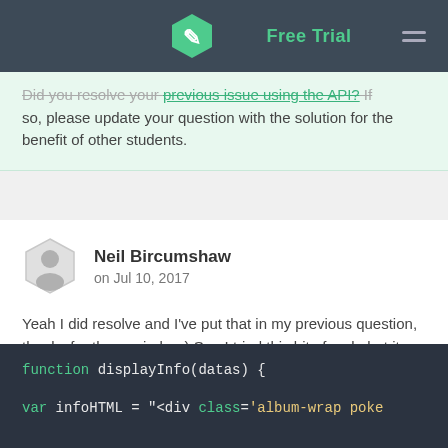Free Trial
Did you resolve your previous issue using the API? If so, please update your question with the solution for the benefit of other students.
Neil Bircumshaw
on Jul 10, 2017
Yeah I did resolve and I've put that in my previous question, thanks for the reminder :) See I tried this bit of code but it didn't pan out. What I was trying to do was loop through and find all the moves and have the names of the moves written on the page like this (just focus on the for loop)
[Figure (screenshot): Code block showing JavaScript function: function displayInfo(datas) { and var infoHTML = "<div class='album-wrap poke]